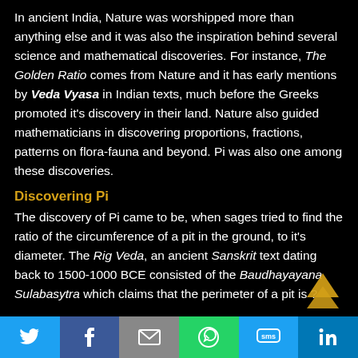In ancient India, Nature was worshipped more than anything else and it was also the inspiration behind several science and mathematical discoveries. For instance, The Golden Ratio comes from Nature and it has early mentions by Veda Vyasa in Indian texts, much before the Greeks promoted it's discovery in their land. Nature also guided mathematicians in discovering proportions, fractions, patterns on flora-fauna and beyond. Pi was also one among these discoveries.
Discovering Pi
The discovery of Pi came to be, when sages tried to find the ratio of the circumference of a pit in the ground, to it's diameter. The Rig Veda, an ancient Sanskrit text dating back to 1500-1000 BCE consisted of the Baudhayayana Sulabasytra which claims that the perimeter of a pit is ?